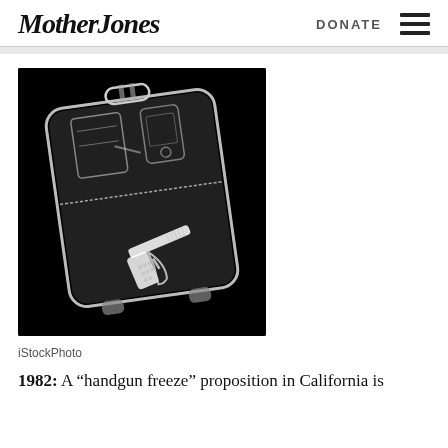Mother Jones   DONATE
[Figure (photo): X-ray image of a suitcase with a handgun visible inside, shown in black and white x-ray style against black background]
iStockPhoto
1982: A “handgun freeze” proposition in California is